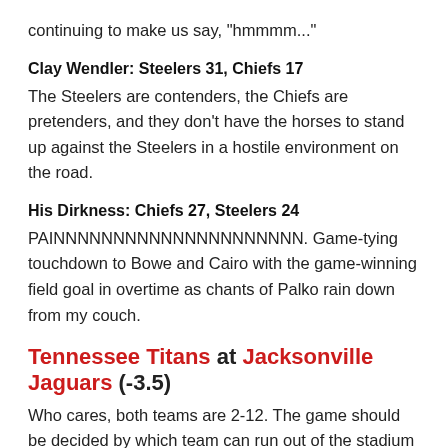continuing to make us say, "hmmmm..."
Clay Wendler: Steelers 31, Chiefs 17
The Steelers are contenders, the Chiefs are pretenders, and they don't have the horses to stand up against the Steelers in a hostile environment on the road.
His Dirkness: Chiefs 27, Steelers 24
PAINNNNNNNNNNNNNNNNNNNNN. Game-tying touchdown to Bowe and Cairo with the game-winning field goal in overtime as chants of Palko rain down from my couch.
Tennessee Titans at Jacksonville Jaguars (-3.5)
Who cares, both teams are 2-12. The game should be decided by which team can run out of the stadium and